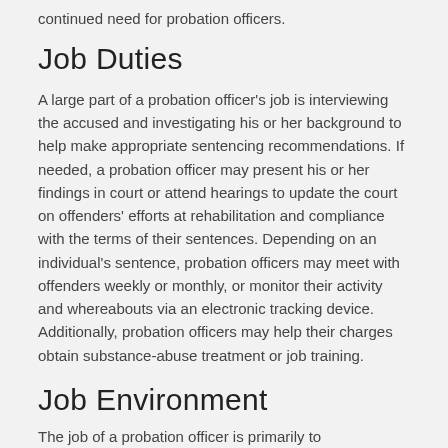continued need for probation officers.
Job Duties
A large part of a probation officer’s job is interviewing the accused and investigating his or her background to help make appropriate sentencing recommendations. If needed, a probation officer may present his or her findings in court or attend hearings to update the court on offenders' efforts at rehabilitation and compliance with the terms of their sentences. Depending on an individual's sentence, probation officers may meet with offenders weekly or monthly, or monitor their activity and whereabouts via an electronic tracking device. Additionally, probation officers may help their charges obtain substance-abuse treatment or job training.
Job Environment
The job of a probation officer is primarily to